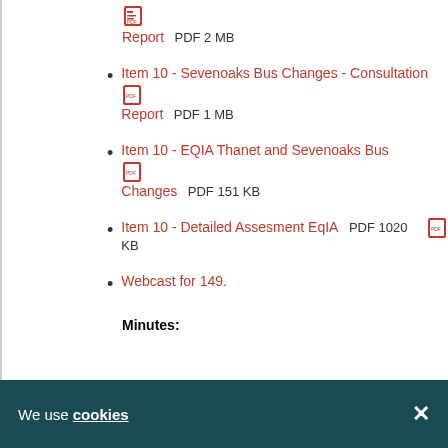[Figure (other): PDF file icon]
Report    PDF 2 MB
Item 10 - Sevenoaks Bus Changes - Consultation Report    PDF 1 MB
Item 10 - EQIA Thanet and Sevenoaks Bus Changes    PDF 151 KB
Item 10 - Detailed Assesment EqIA    PDF 1020 KB
Webcast for 149.
Minutes:
We use cookies